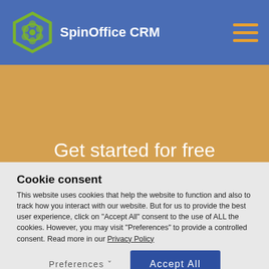SpinOffice CRM
Get started for free
Try SpinOffice CRM without any obligation and no
Cookie consent
This website uses cookies that help the website to function and also to track how you interact with our website. But for us to provide the best user experience, click on "Accept All" consent to the use of ALL the cookies. However, you may visit "Preferences" to provide a controlled consent. Read more in our Privacy Policy
Preferences
Accept All